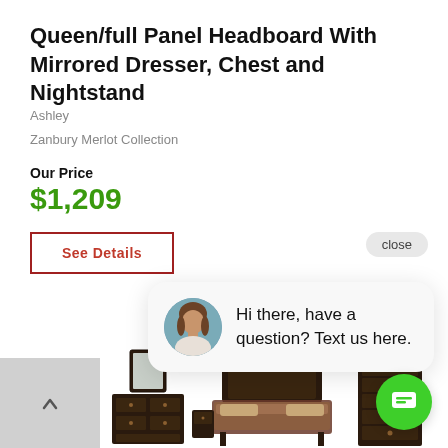Queen/full Panel Headboard With Mirrored Dresser, Chest and Nightstand
Ashley
Zanbury Merlot Collection
Our Price
$1,209
See Details
close
Hi there, have a question? Text us here.
[Figure (photo): Chat popup with avatar photo of a woman, showing message: Hi there, have a question? Text us here.]
[Figure (photo): Furniture thumbnail images: dresser with mirror, bed set, chest of drawers at bottom of page]
[Figure (illustration): Green chat floating action button with chat icon at bottom right]